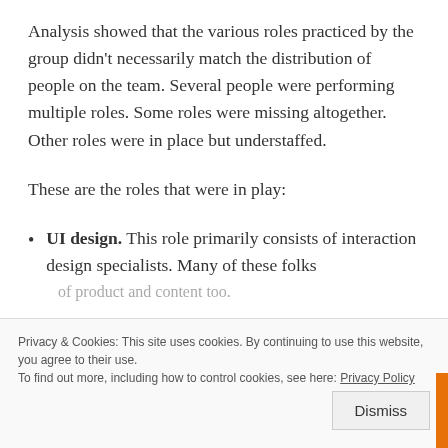Analysis showed that the various roles practiced by the group didn't necessarily match the distribution of people on the team. Several people were performing multiple roles. Some roles were missing altogether. Other roles were in place but understaffed.
These are the roles that were in play:
UI design. This role primarily consists of interaction design specialists. Many of these folks
of product and content too.
Privacy & Cookies: This site uses cookies. By continuing to use this website, you agree to their use.
To find out more, including how to control cookies, see here: Privacy Policy